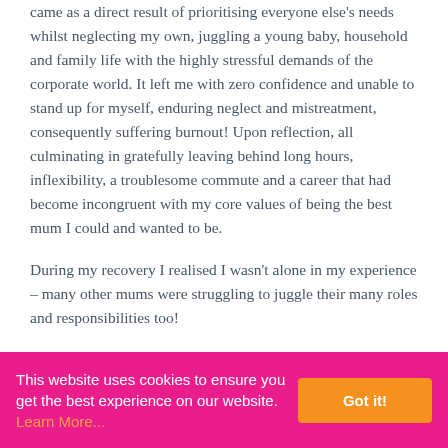came as a direct result of prioritising everyone else's needs whilst neglecting my own, juggling a young baby, household and family life with the highly stressful demands of the corporate world. It left me with zero confidence and unable to stand up for myself, enduring neglect and mistreatment, consequently suffering burnout! Upon reflection, all culminating in gratefully leaving behind long hours, inflexibility, a troublesome commute and a career that had become incongruent with my core values of being the best mum I could and wanted to be.
During my recovery I realised I wasn't alone in my experience – many other mums were struggling to juggle their many roles and responsibilities too!
This website uses cookies to ensure you get the best experience on our website. Learn More...